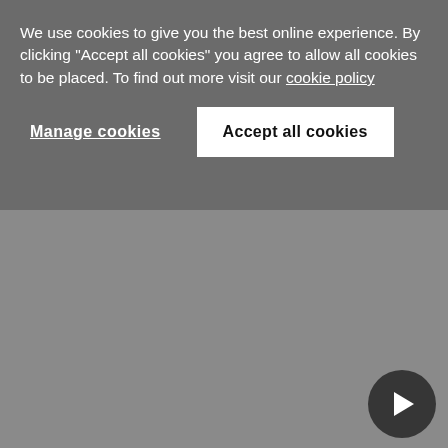We use cookies to give you the best online experience. By clicking "Accept all cookies" you agree to allow all cookies to be placed. To find out more visit our cookie policy
Manage cookies
Accept all cookies
As an example, with the advent of biologics, manufacturing and product characterisation concerns have a much greater effect on profitability. This trend will continue and probably accelerate as the industry continues to commercialise cell and gene therapies.
b. More products, particularly gene therapies and therapies for rare diseases, are coming to market without the expansive clinical trials typically required to confirm efficacy